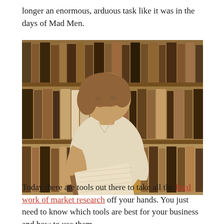longer an enormous, arduous task like it was in the days of Mad Men.
[Figure (photo): Vintage sepia-toned photograph of a young woman with short curly hair, wearing a white short-sleeve blouse, standing in a library in front of bookshelves filled with books, looking down and reading an open book she holds in her hands.]
Today there are tools out there to take all the hard work of market research off your hands. You just need to know which tools are best for your business and how to use them.